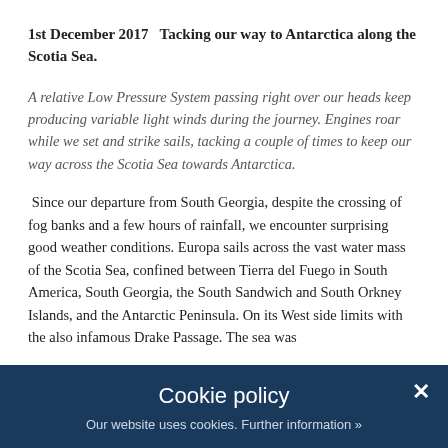1st December 2017   Tacking our way to Antarctica along the Scotia Sea.
A relative Low Pressure System passing right over our heads keep producing variable light winds during the journey. Engines roar while we set and strike sails, tacking a couple of times to keep our way across the Scotia Sea towards Antarctica.
Since our departure from South Georgia, despite the crossing of fog banks and a few hours of rainfall, we encounter surprising good weather conditions. Europa sails across the vast water mass of the Scotia Sea, confined between Tierra del Fuego in South America, South Georgia, the South Sandwich and South Orkney Islands, and the Antarctic Peninsula. On its West side limits with the also infamous Drake Passage. The sea was
Cookie policy
Our website uses cookies. Further information »